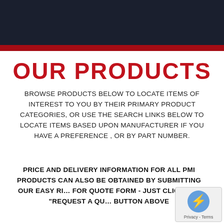[Figure (photo): Dark navy/charcoal header banner area at the top of the page]
OUR PRODUCTS
BROWSE PRODUCTS BELOW TO LOCATE ITEMS OF INTEREST TO YOU BY THEIR PRIMARY PRODUCT CATEGORIES, OR USE THE SEARCH LINKS BELOW TO LOCATE ITEMS BASED UPON MANUFACTURER IF YOU HAVE A PREFERENCE , OR BY PART NUMBER.
PRICE AND DELIVERY INFORMATION FOR ALL PMI PRODUCTS CAN ALSO BE OBTAINED BY SUBMITTING OUR EASY REQUEST FOR QUOTE FORM - JUST CLICK THE "REQUEST A QUOTE" BUTTON ABOVE